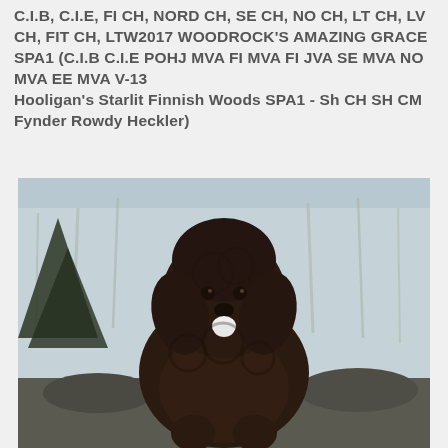C.I.B, C.I.E, FI CH, NORD CH, SE CH, NO CH, LT CH, LV CH, FIT CH, LTW2017 WOODROCK'S AMAZING GRACE SPA1 (C.I.B C.I.E POHJ MVA FI MVA FI JVA SE MVA NO MVA EE MVA V-13 Hooligan's Starlit Finnish Woods SPA1 - Sh CH SH CM Fynder Rowdy Heckler)
[Figure (photo): A dark brown/chocolate standard poodle with a fluffy curly coat sitting outdoors, tongue out, with bare winter trees in the background.]